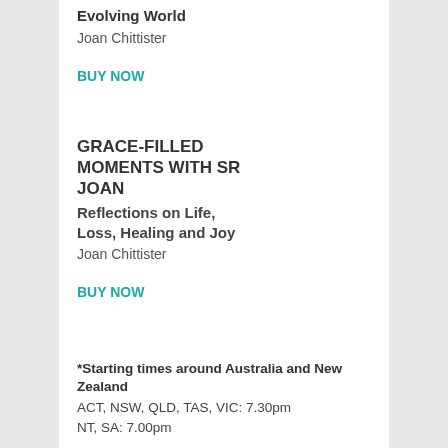Evolving World
Joan Chittister
BUY NOW
GRACE-FILLED MOMENTS WITH SR JOAN
Reflections on Life, Loss, Healing and Joy
Joan Chittister
BUY NOW
*Starting times around Australia and New Zealand
ACT, NSW, QLD, TAS, VIC: 7.30pm
NT, SA: 7.00pm